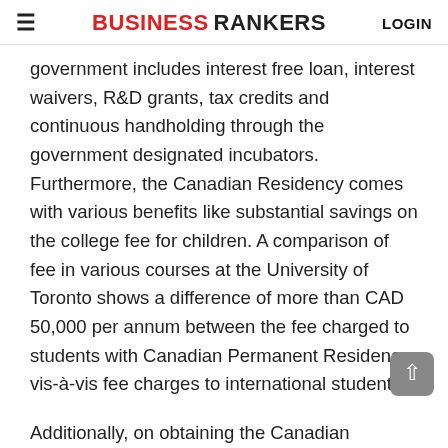≡  BUSINESS RANKERS  LOGIN
government includes interest free loan, interest waivers, R&D grants, tax credits and continuous handholding through the government designated incubators. Furthermore, the Canadian Residency comes with various benefits like substantial savings on the college fee for children. A comparison of fee in various courses at the University of Toronto shows a difference of more than CAD 50,000 per annum between the fee charged to students with Canadian Permanent Residency vis-à-vis fee charges to international students.
Additionally, on obtaining the Canadian